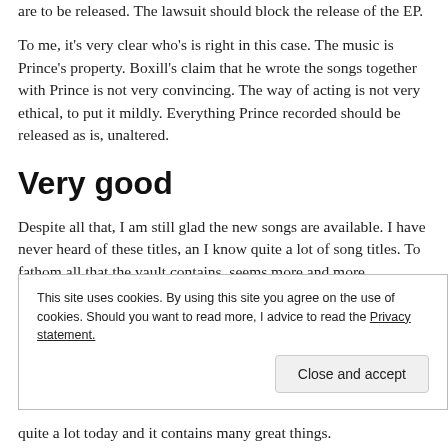are to be released. The lawsuit should block the release of the EP.
To me, it's very clear who's is right in this case. The music is Prince's property. Boxill's claim that he wrote the songs together with Prince is not very convincing. The way of acting is not very ethical, to put it mildly. Everything Prince recorded should be released as is, unaltered.
Very good
Despite all that, I am still glad the new songs are available. I have never heard of these titles, an I know quite a lot of song titles. To fathom all that the vault contains, seems more and more unbelievable with every passing day. I wonder
This site uses cookies. By using this site you agree on the use of cookies. Should you want to read more, I advice to read the Privacy statement.
quite a lot today and it contains many great things.